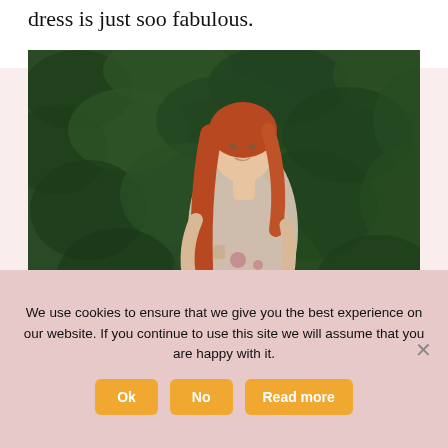dress is just soo fabulous.
[Figure (photo): A young woman with long red hair wearing a floral dress, standing in front of a dense green hedge, photographed from the side/back turning to look back.]
We use cookies to ensure that we give you the best experience on our website. If you continue to use this site we will assume that you are happy with it.